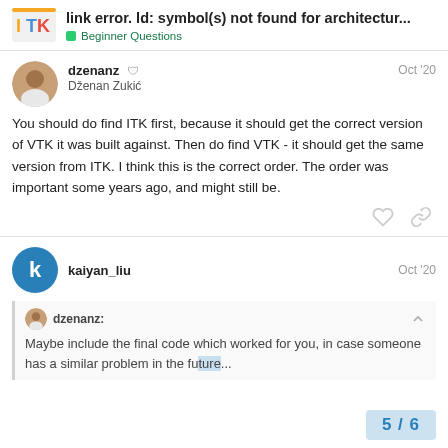link error. ld: symbol(s) not found for architectur... | Beginner Questions
dzenanz 🛡 Dženan Zukić Oct '20
You should do find ITK first, because it should get the correct version of VTK it was built against. Then do find VTK - it should get the same version from ITK. I think this is the correct order. The order was important some years ago, and might still be.
kaiyan_liu Oct '20
dzenanz: Maybe include the final code which worked for you, in case someone has a similar problem in the fu...
5 / 6